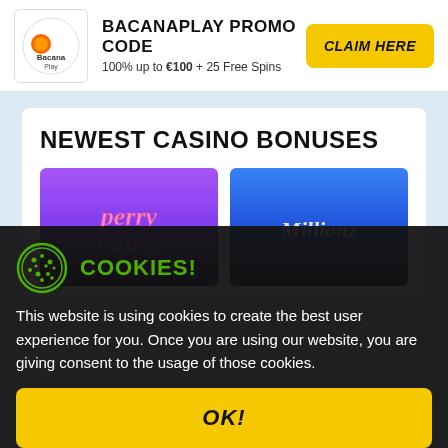BACANAPLAY PROMO CODE — 100% up to €100 + 25 Free Spins — CLAIM HERE
NEWEST CASINO BONUSES
[Figure (screenshot): Perry Casino purple card with pink script logo]
[Figure (screenshot): Millionz Casino blue card with white italic logo]
COOKIES! This website is using cookies to create the best user experience for you. Once you are using our website, you are giving consent to the usage of those cookies.
OK!